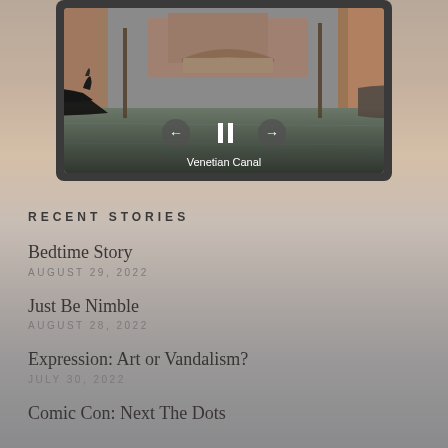[Figure (photo): Slideshow widget showing a Venetian canal with a gondola in the foreground, a bridge and buildings in the background, with playback controls (previous, pause, next) overlaid. Caption reads 'Venetian Canal'.]
RECENT STORIES
Bedtime Story
AUGUST 29, 2022
Just Be Nimble
AUGUST 28, 2022
Expression: Art or Vandalism?
JULY 30, 2022
Comic Con: Next The Dots